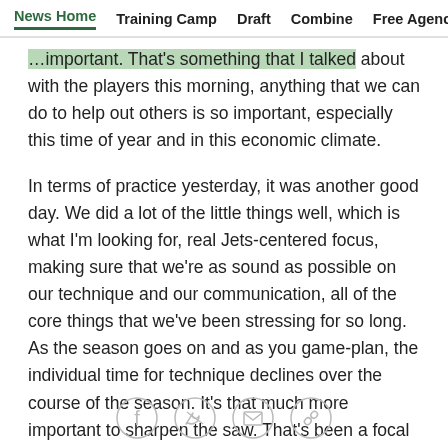News Home  Training Camp  Draft  Combine  Free Agency  Fe
...important. That's something that I talked about with the players this morning, anything that we can do to help out others is so important, especially this time of year and in this economic climate.
In terms of practice yesterday, it was another good day. We did a lot of the little things well, which is what I'm looking for, real Jets-centered focus, making sure that we're as sound as possible on our technique and our communication, all of the core things that we've been stressing for so long. As the season goes on and as you game-plan, the individual time for technique declines over the course of the season. It's that much more important to sharpen the saw. That's been a focal point and will continue to be a focal point. Overall, the
[Figure (other): Social sharing icons: Facebook, Twitter, Email, Link]